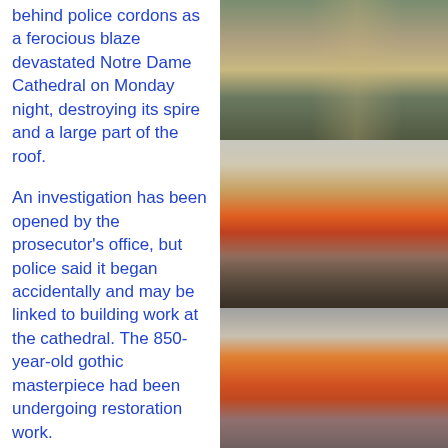behind police cordons as a ferocious blaze devastated Notre Dame Cathedral on Monday night, destroying its spire and a large part of the roof.
[Figure (photo): Aerial/elevated view of Notre Dame Cathedral with smoke rising and fire visible, taken from a nearby building overlooking the Seine and Paris cityscape at dusk.]
An investigation has been opened by the prosecutor's office, but police said it began accidentally and may be linked to building work at the cathedral. The 850-year-old gothic masterpiece had been undergoing restoration work.
[Figure (photo): Close-up view of Notre Dame Cathedral's spire engulfed in flames and billowing smoke, with crowds of onlookers in the foreground and Parisian buildings in the background.]
The French president, Emmanuel Macron,
[Figure (photo): Close-up of Notre Dame's ornamental spire pinnacles against a smoky sky, with fire and embers visible.]